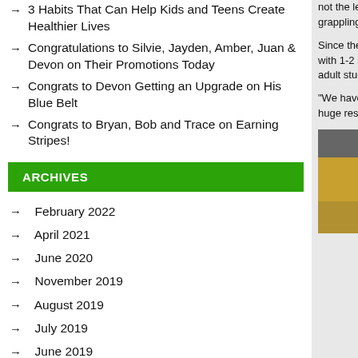→ 3 Habits That Can Help Kids and Teens Create Healthier Lives
→ Congratulations to Silvie, Jayden, Amber, Juan & Devon on Their Promotions Today
→ Congrats to Devon Getting an Upgrade on His Blue Belt
→ Congrats to Bryan, Bob and Trace on Earning Stripes!
ARCHIVES
→ February 2022
→ April 2021
→ June 2020
→ November 2019
→ August 2019
→ July 2019
→ June 2019
→ May 2019
→ February 2019
→ January 2019
not the least bi passionate for the grappling a
Since the early Jeremy was a b with 1-2 studen and expanded t adult students grappling.
"We have stude our classes. It's huge responsib
[Figure (photo): Photo of a person in a martial arts or sports setting, with yellow and green background]